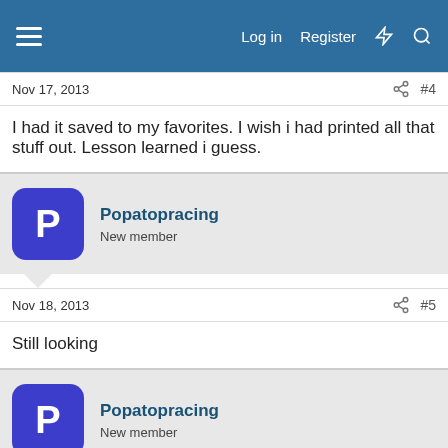Log in  Register
Nov 17, 2013  #4
I had it saved to my favorites. I wish i had printed all that stuff out. Lesson learned i guess.
Popatopracing
New member
Nov 18, 2013  #5
Still looking
Popatopracing
New member
Nov 26, 2013  #6
Any one.